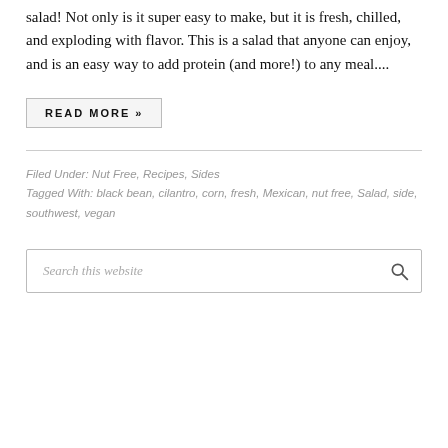salad! Not only is it super easy to make, but it is fresh, chilled, and exploding with flavor. This is a salad that anyone can enjoy, and is an easy way to add protein (and more!) to any meal....
READ MORE »
Filed Under: Nut Free, Recipes, Sides
Tagged With: black bean, cilantro, corn, fresh, Mexican, nut free, Salad, side, southwest, vegan
Search this website